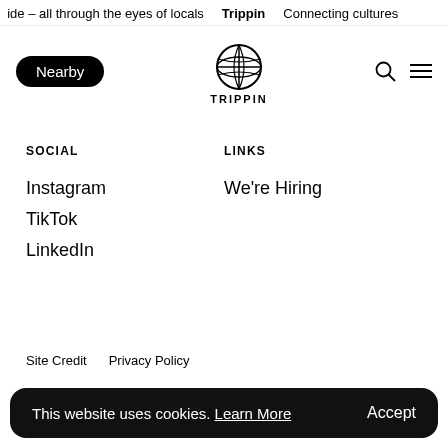ide – all through the eyes of locals  Trippin  Connecting cultures
[Figure (logo): Trippin logo: globe icon with TRIPPIN text below, black and white]
SOCIAL
LINKS
Instagram
We're Hiring
TikTok
LinkedIn
Site Credit    Privacy Policy
This website uses cookies. Learn More    Accept